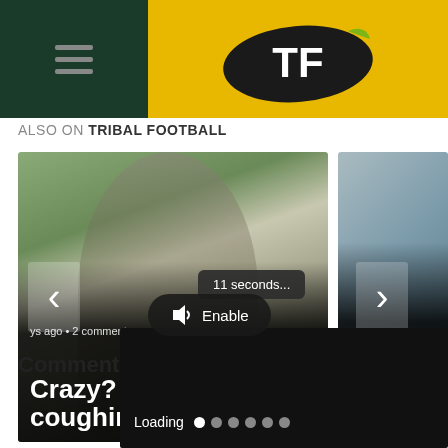[Figure (screenshot): Tribal Football website header with dark green left panel containing hamburger menu and yellow right panel containing TF logo]
ALSO ON TRIBAL FOOTBALL
[Figure (photo): Football article card showing a player with long dark hair in a blue and white striped jersey. Overlay text: 'ys ago • 2 comments' and headline 'Crazy? Chelsea coughing up £62M']
[Figure (photo): Partial football article card on the right showing '2 d' and headline 'Liverp Klo' (Liverpool/Klopp)]
[Figure (screenshot): Video player overlay with black background, Enable audio button, '11 seconds...' tooltip, and Loading progress indicator]
Comments
Loading